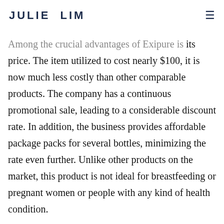JULIE LIM
Among the crucial advantages of Exipure is its price. The item utilized to cost nearly $100, it is now much less costly than other comparable products. The company has a continuous promotional sale, leading to a considerable discount rate. In addition, the business provides affordable package packs for several bottles, minimizing the rate even further. Unlike other products on the market, this product is not ideal for breastfeeding or pregnant women or people with any kind of health condition.